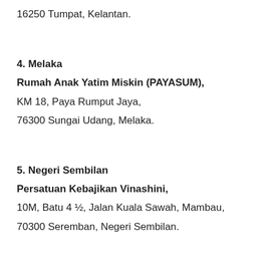16250 Tumpat, Kelantan.
4. Melaka
Rumah Anak Yatim Miskin (PAYASUM),
KM 18, Paya Rumput Jaya,
76300 Sungai Udang, Melaka.
5. Negeri Sembilan
Persatuan Kebajikan Vinashini,
10M, Batu 4 ½, Jalan Kuala Sawah, Mambau,
70300 Seremban, Negeri Sembilan.
6. Pahang